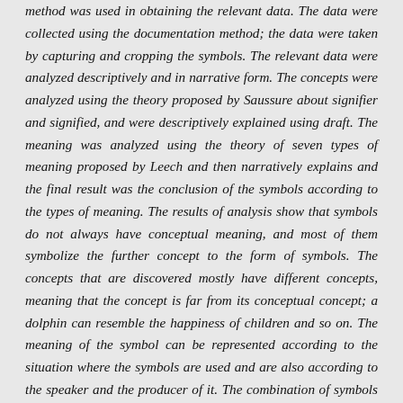method was used in obtaining the relevant data. The data were collected using the documentation method; the data were taken by capturing and cropping the symbols. The relevant data were analyzed descriptively and in narrative form. The concepts were analyzed using the theory proposed by Saussure about signifier and signified, and were descriptively explained using draft. The meaning was analyzed using the theory of seven types of meaning proposed by Leech and then narratively explains and the final result was the conclusion of the symbols according to the types of meaning. The results of analysis show that symbols do not always have conceptual meaning, and most of them symbolize the further concept to the form of symbols. The concepts that are discovered mostly have different concepts, meaning that the concept is far from its conceptual concept; a dolphin can resemble the happiness of children and so on. The meaning of the symbol can be represented according to the situation where the symbols are used and are also according to the speaker and the producer of it. The combination of symbols can have many different meanings.